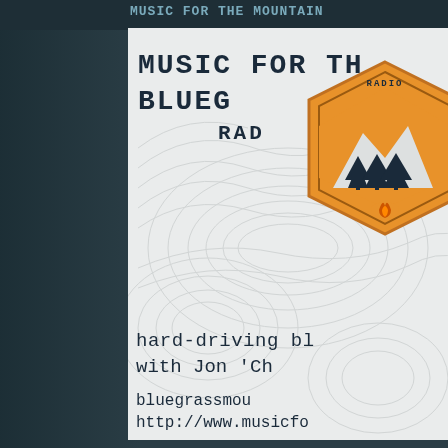Music for the Mountain
MUSIC FOR TH
BLUEG
RAD
[Figure (logo): Hexagonal badge logo with orange background, mountain peaks, pine trees, and a campfire flame. Text reads 'RADIO' at top.]
hard-driving bl
with Jon 'Ch
bluegrassmou
http://www.musicfo